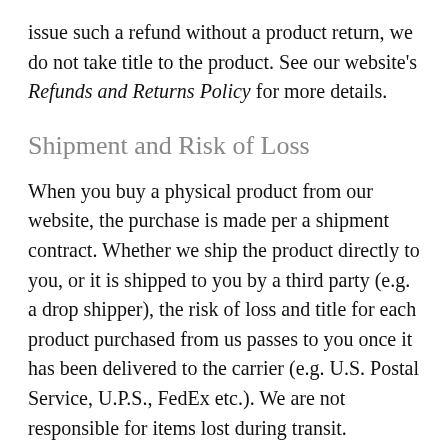issue such a refund without a product return, we do not take title to the product. See our website's Refunds and Returns Policy for more details.
Shipment and Risk of Loss
When you buy a physical product from our website, the purchase is made per a shipment contract. Whether we ship the product directly to you, or it is shipped to you by a third party (e.g. a drop shipper), the risk of loss and title for each product purchased from us passes to you once it has been delivered to the carrier (e.g. U.S. Postal Service, U.P.S., FedEx etc.). We are not responsible for items lost during transit.